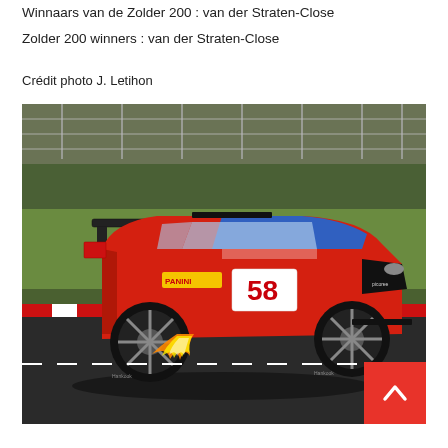Winnaars van de Zolder 200 : van der Straten-Close
Zolder 200 winners : van der Straten-Close
Crédit photo J. Letihon
[Figure (photo): A red Ford Focus race car number 58 with blue roof, large rear wing, driving on the Zolder circuit with flames visible from the exhaust. The car has Panini and other sponsor logos.]